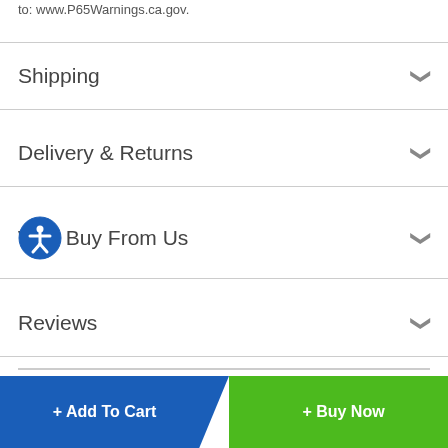to: www.P65Warnings.ca.gov.
Shipping
Delivery & Returns
Why Buy From Us
Reviews
Customer Reviews
+ Add To Cart
+ Buy Now